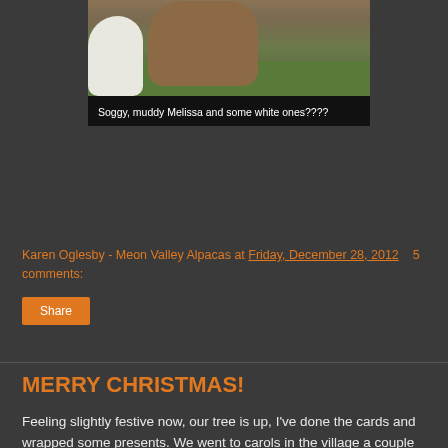[Figure (photo): Photo of alpacas in a muddy field - a brown/muddy alpaca in the center and white alpacas on the sides, standing on grass]
Soggy, muddy Melissa and some white ones????
Karen Oglesby - Meon Valley Alpacas at Friday, December 28, 2012    5 comments:
Share
MERRY CHRISTMAS!
Feeling slightly festive now, our tree is up, I've done the cards and wrapped some presents. We went to carols in the village a couple of nights ago, it could only happen like that in England I'm sure, booming men's voices a bar or so